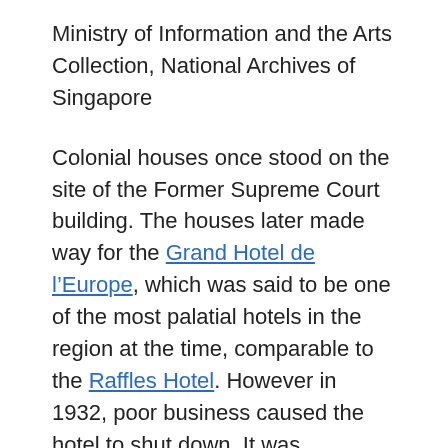Ministry of Information and the Arts Collection, National Archives of Singapore
Colonial houses once stood on the site of the Former Supreme Court building. The houses later made way for the Grand Hotel de l’Europe, which was said to be one of the most palatial hotels in the region at the time, comparable to the Raffles Hotel. However in 1932, poor business caused the hotel to shut down. It was eventually demolished to make way for the Former Supreme Court building.